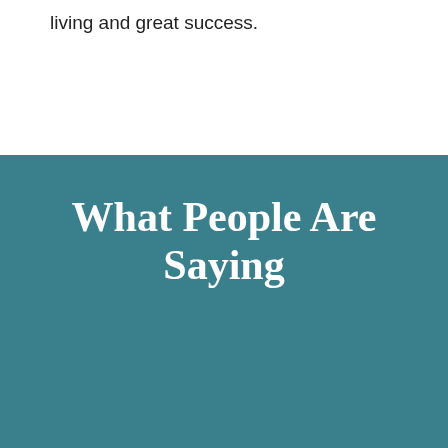living and great success.
What People Are Saying
[Figure (photo): Circular photo of a person outdoors near a wooden fence, in a natural setting.]